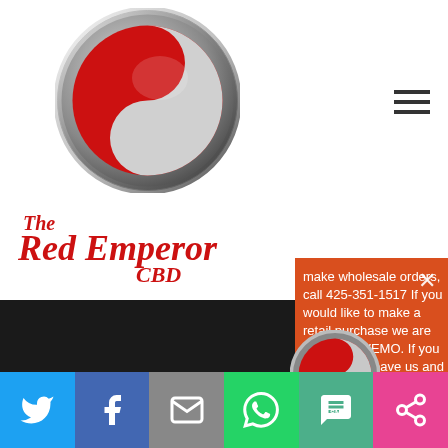[Figure (logo): Red Emperor CBD circular logo with yin-yang style design, red and silver/white bull or animal silhouette]
The Red Emperor CBD
make wholesale orders, call 425-351-1517 If you would like to make a retail purchase we are accepting VEMO. If you uestions or leave us and a representative will contact you in less than 24 hours. Thank you kindly for your patience.
[Figure (logo): Red Emperor CBD circular logo repeated in middle of orange panel]
[Figure (infographic): Social sharing bar with Twitter, Facebook, Email, WhatsApp, SMS, and share buttons]